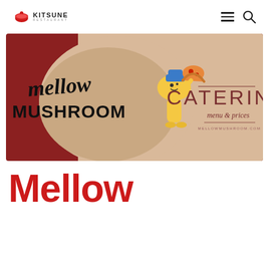[Figure (logo): Kitsune Restaurant logo with red bowl icon, bold KITSUNE text, and RESTAURANT subtitle]
[Figure (illustration): Mellow Mushroom catering banner: dark red and tan background with the Mellow Mushroom logo (cartoon mushroom character holding pizza, script 'mellow' and bold 'MUSHROOM' text) on the left, and 'CATERING menu & prices' text on the right]
Mellow